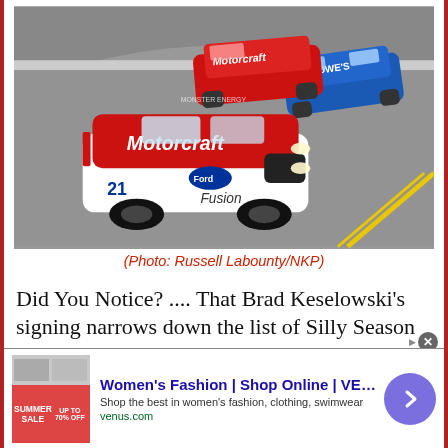[Figure (photo): NASCAR race photo showing a Ford Fusion #21 Motorcraft car in the lead, followed by other race cars on a track with yellow boundary lines]
(Photo: Russell Labounty/NKP)
Did You Notice? .... That Brad Keselowski’s signing narrows down the list of Silly Season question marks? Keselowski’s extension, announced Tuesday, keeps him in the Team
[Figure (screenshot): Advertisement banner for Women’s Fashion | Shop Online | VENUS — Shop the best in women’s fashion, clothing, swimwear. venus.com]